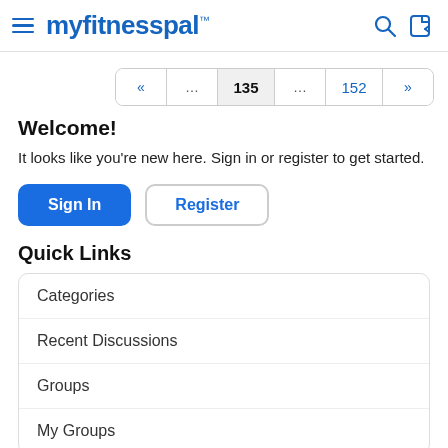myfitnesspal
« … 135 … 152 »
Welcome!
It looks like you're new here. Sign in or register to get started.
Sign In  Register
Quick Links
Categories
Recent Discussions
Groups
My Groups